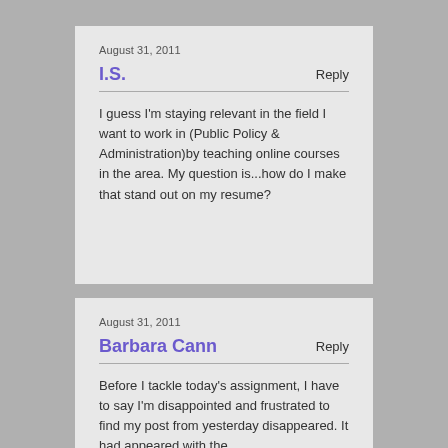August 31, 2011
I.S.
Reply
I guess I'm staying relevant in the field I want to work in (Public Policy & Administration)by teaching online courses in the area. My question is...how do I make that stand out on my resume?
August 31, 2011
Barbara Cann
Reply
Before I tackle today's assignment, I have to say I'm disappointed and frustrated to find my post from yesterday disappeared. It had appeared with the